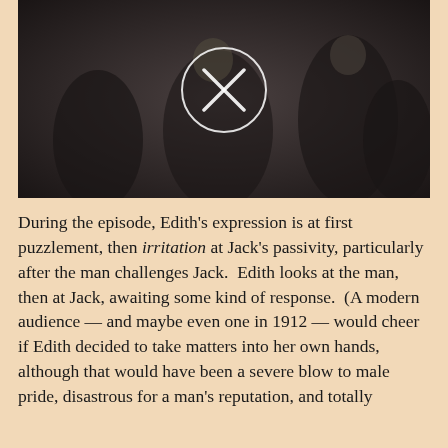[Figure (photo): A dark, black-and-white photograph showing several people, with a circular icon overlay containing an X in the center of the image.]
During the episode, Edith's expression is at first puzzlement, then irritation at Jack's passivity, particularly after the man challenges Jack. Edith looks at the man, then at Jack, awaiting some kind of response. (A modern audience — and maybe even one in 1912 — would cheer if Edith decided to take matters into her own hands, although that would have been a severe blow to male pride, disastrous for a man's reputation, and totally